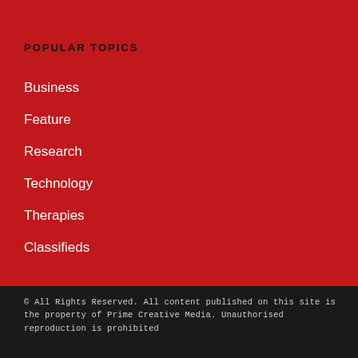POPULAR TOPICS
Business
Feature
Research
Technology
Therapies
Classifieds
© All Rights Reserved. All content published on this site is the property of Prime Creative Media. Unauthorised reproduction is prohibited